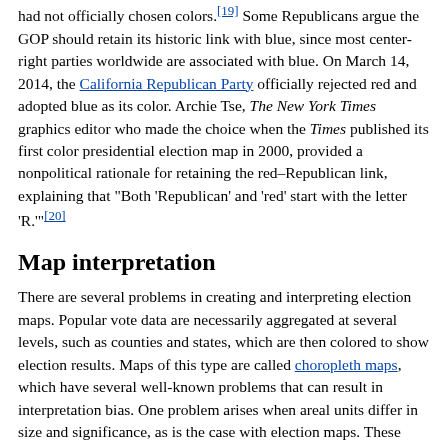had not officially chosen colors.[19] Some Republicans argue the GOP should retain its historic link with blue, since most center-right parties worldwide are associated with blue. On March 14, 2014, the California Republican Party officially rejected red and adopted blue as its color. Archie Tse, The New York Times graphics editor who made the choice when the Times published its first color presidential election map in 2000, provided a nonpolitical rationale for retaining the red–Republican link, explaining that "Both 'Republican' and 'red' start with the letter 'R.'"[20]
Map interpretation
There are several problems in creating and interpreting election maps. Popular vote data are necessarily aggregated at several levels, such as counties and states, which are then colored to show election results. Maps of this type are called choropleth maps, which have several well-known problems that can result in interpretation bias. One problem arises when areal units differ in size and significance, as is the case with election maps. These maps give extra visual weight to larger areal units, whether by county or state. This problem is compounded in that the units are not equally significant. A large county or state in area may have fewer voters than a small one in area, for example. Some maps attempt to account for this by using cartogram methods, but the